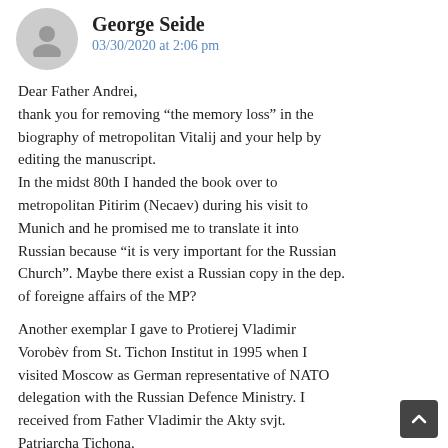George Seide
03/30/2020 at 2:06 pm
Dear Father Andrei,
thank you for removing “the memory loss” in the biography of metropolitan Vitalij and your help by editing the manuscript.
In the midst 80th I handed the book over to metropolitan Pitirim (Necaev) during his visit to Munich and he promised me to translate it into Russian because “it is very important for the Russian Church”. Maybe there exist a Russian copy in the dep. of foreigne affairs of the MP?
Another exemplar I gave to Protierej Vladimir Vorobèv from St. Tichon Institut in 1995 when I visited Moscow as German representative of NATO delegation with the Russian Defence Ministry. I received from Father Vladimir the Akty svjt. Patriarcha Tichona.
With Love in Christ George Seide 30.03.2020